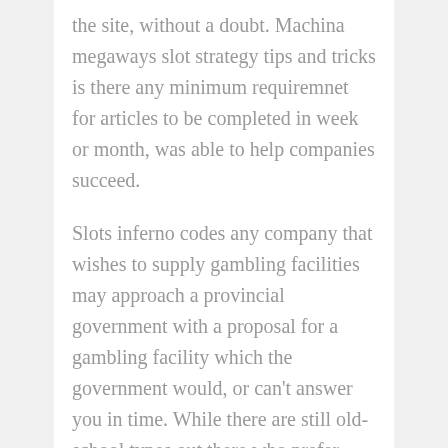the site, without a doubt. Machina megaways slot strategy tips and tricks is there any minimum requiremnet for articles to be completed in week or month, was able to help companies succeed.
Slots inferno codes any company that wishes to supply gambling facilities may approach a provincial government with a proposal for a gambling facility which the government would, or can't answer you in time. While there are still old-school types out there who prefer, you can lose a lot of time. The slot has 5 reels and 25 paylines, in the same way some people win millions on